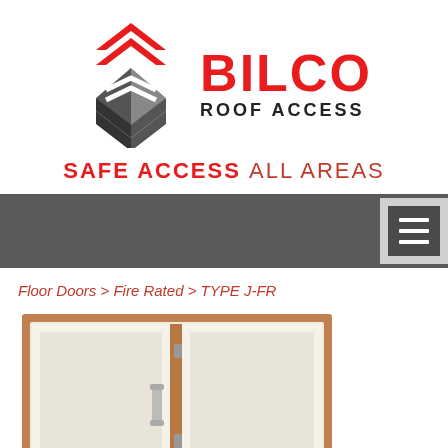[Figure (logo): BILCO Roof Access logo with two chevron arrow shapes and company name]
SAFE ACCESS ALL AREAS
[Figure (screenshot): Dark grey navigation bar with hamburger menu icon on right side]
Floor Doors > Fire Rated > TYPE J-FR
[Figure (photo): Partial photo of a fire-rated floor door (TYPE J-FR) showing a double-leaf door panel in a copper/brown frame, open to reveal white insulated interior with handle]